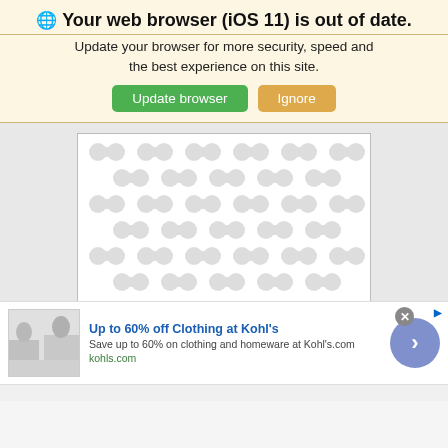🌐 Your web browser (iOS 11) is out of date.
Update your browser for more security, speed and the best experience on this site.
[Figure (screenshot): Two buttons: 'Update browser' (green) and 'Ignore' (orange/tan)]
[Figure (illustration): Placeholder box with white and light gray decorative repeating organic blob/dumbbell pattern]
[Figure (screenshot): Advertisement banner: 'Up to 60% off Clothing at Kohl’s' with shopping image, description text, kohls.com URL, close button, and blue circle arrow button]